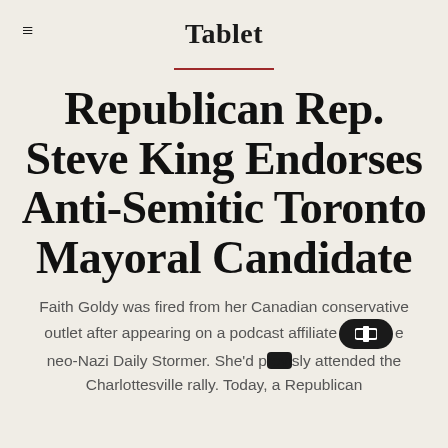Tablet
Republican Rep. Steve King Endorses Anti-Semitic Toronto Mayoral Candidate
Faith Goldy was fired from her Canadian conservative outlet after appearing on a podcast affiliated with the neo-Nazi Daily Stormer. She'd previously attended the Charlottesville rally. Today, a Republican